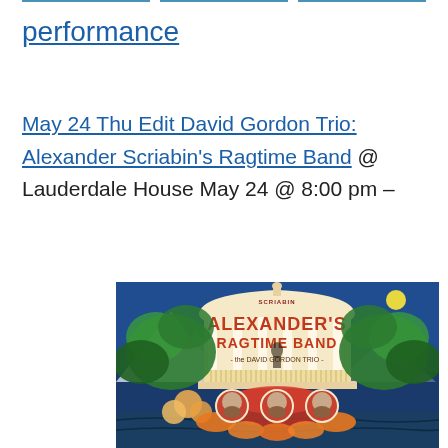performance
May 24 Thu Edit David Gordon Trio: Alexander Scriabin's Ragtime Band @ Lauderdale House May 24 @ 8:00 pm –
[Figure (illustration): Album cover artwork for 'Scriabin Alexander's Ragtime Band – the David Gordon Trio' featuring an ornate gazebo/bandstand structure with green foliage, flowers, three circular portrait medallions of band members at the bottom, and a dark blue sky background with mountains.]